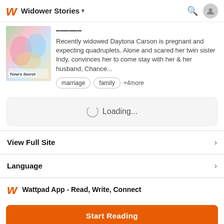Widower Stories
[Figure (illustration): Book cover thumbnail with colorful background and text 'Tona's Secret']
Recently widowed Daytona Carson is pregnant and expecting quadruplets. Alone and scared her twin sister Indy, convinces her to come stay with her & her husband, Chance...
marriage  family  +4more
Loading...
View Full Site
Language
Wattpad App - Read, Write, Connect
Start Reading
Log in with Browser